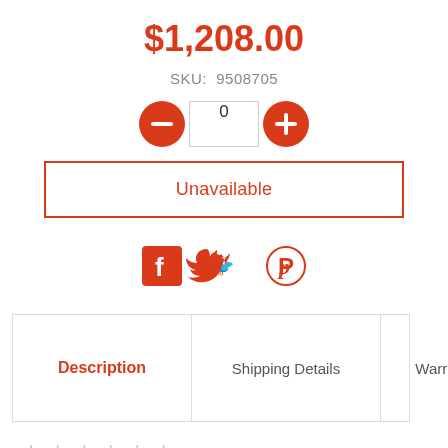$1,208.00
SKU:  9508705
[Figure (other): Quantity selector with minus button (red circle), input box showing 0, plus button (red circle)]
Unavailable
[Figure (other): Social share icons: Facebook, Twitter, Pinterest]
Description | Shipping Details | Warr >